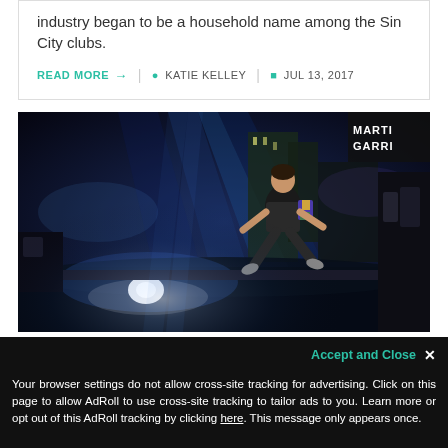industry began to be a household name among the Sin City clubs.
READ MORE → | KATIE KELLEY | JUL 13, 2017
[Figure (photo): Concert performer jumping on stage with dramatic blue lighting and a large crowd visible below. A 'Martin Garrix' banner is partially visible in the top right corner.]
Accept and Close ✕ Your browser settings do not allow cross-site tracking for advertising. Click on this page to allow AdRoll to use cross-site tracking to tailor ads to you. Learn more or opt out of this AdRoll tracking by clicking here. This message only appears once.